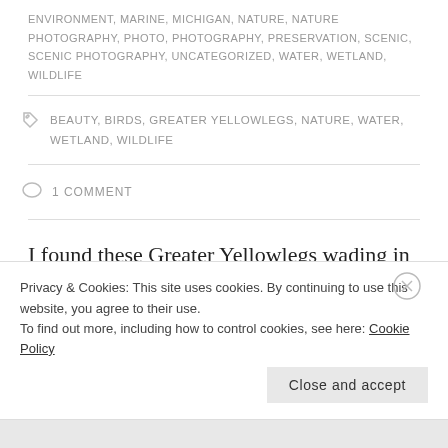ENVIRONMENT, MARINE, MICHIGAN, NATURE, NATURE PHOTOGRAPHY, PHOTO, PHOTOGRAPHY, PRESERVATION, SCENIC, SCENIC PHOTOGRAPHY, UNCATEGORIZED, WATER, WETLAND, WILDLIFE
BEAUTY, BIRDS, GREATER YELLOWLEGS, NATURE, WATER, WETLAND, WILDLIFE
1 COMMENT
I found these Greater Yellowlegs wading in water yesterday. I don't ever remember seeing this type of bird before. I'm not sure if they spend the summer
Privacy & Cookies: This site uses cookies. By continuing to use this website, you agree to their use. To find out more, including how to control cookies, see here: Cookie Policy
Close and accept